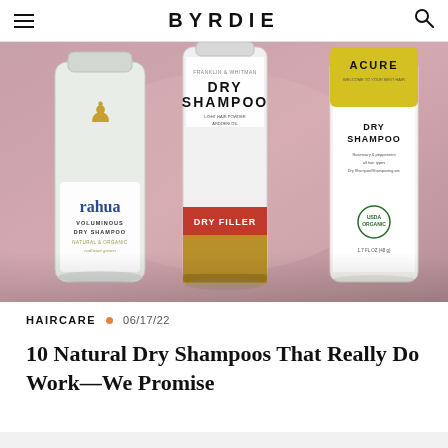BYRDIE
[Figure (photo): Three dry shampoo product bottles on a pink/mauve gradient background: Rahua Voluminous Dry Shampoo (white bottle), Franklin & Whitman Dry Shampoo (white bottle with gold/copper base and red label band), and Acure Dry Shampoo (white bottle with yellow label top).]
HAIRCARE  06/17/22
10 Natural Dry Shampoos That Really Do Work—We Promise